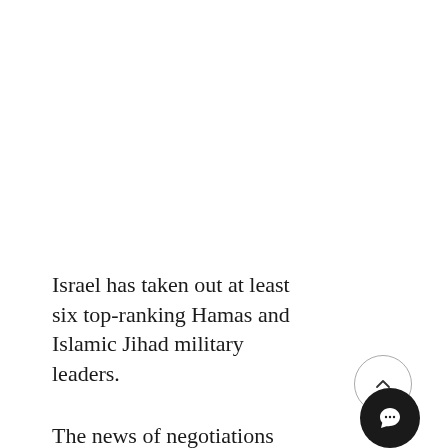Israel has taken out at least six top-ranking Hamas and Islamic Jihad military leaders.
The news of negotiations was accompanied by heavy rocket fire